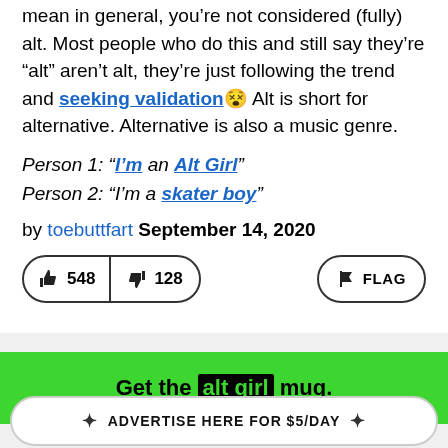mean in general, you’re not considered (fully) alt. Most people who do this and still say they’re “alt” aren’t alt, they’re just following the trend and seeking validation😵 Alt is short for alternative. Alternative is also a music genre.
Person 1: “I’m an Alt Girl”
Person 2: “I’m a skater boy”
by toebuttfart September 14, 2020
[Figure (other): Vote buttons: thumbs up 548, thumbs down 128, and FLAG button]
Get the alt girl mug.
ADVERTISE HERE FOR $5/DAY